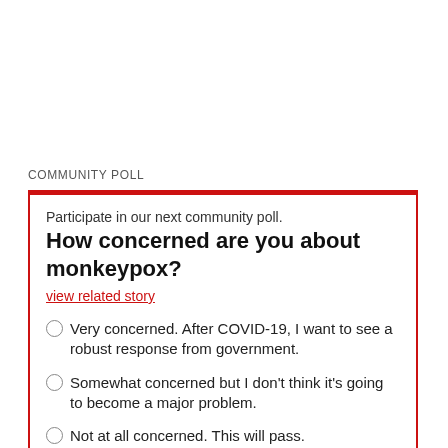COMMUNITY POLL
Participate in our next community poll.
How concerned are you about monkeypox?
view related story
Very concerned. After COVID-19, I want to see a robust response from government.
Somewhat concerned but I don't think it's going to become a major problem.
Not at all concerned. This will pass.